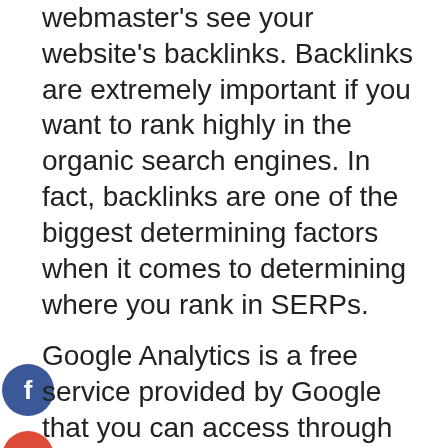webmaster's see your website's backlinks. Backlinks are extremely important if you want to rank highly in the organic search engines. In fact, backlinks are one of the biggest determining factors when it comes to determining where you rank in SERPs.
[Figure (infographic): Social sharing icons (Facebook, Google+, Twitter, Plus/Add) as colored circles on the left side of the page]
Google Analytics is a free service provided by Google that you can access through their website. You will be able to view a detailed report on all the websites linking to your site. Google Analytics collects information on all backlinks from every website on the Internet which you can access by visiting the link resource section located at the bottom of the Google Analytics interface. You will also receive detailed information on the sites which link to your site which include the anchor texts used, the link types used, the link's page rank, and anchor